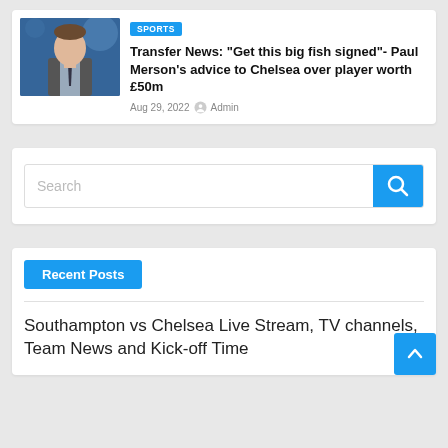[Figure (photo): Photo of Paul Merson in a suit, blue background, TV studio setting]
SPORTS
Transfer News: “Get this big fish signed”- Paul Merson’s advice to Chelsea over player worth £50m
Aug 29, 2022  Admin
Search
Recent Posts
Southampton vs Chelsea Live Stream, TV channels, Team News and Kick-off Time